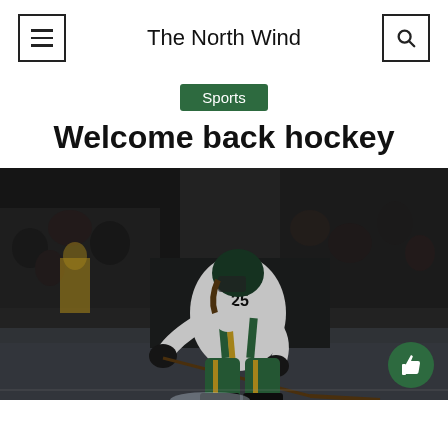The North Wind
Sports
Welcome back hockey
[Figure (photo): A hockey player wearing number 25 in a green, white, and gold NMU Wildcats uniform skating on ice with a hockey stick, with the arena crowd visible in the background. A green thumbs-up like button appears in the bottom right corner.]